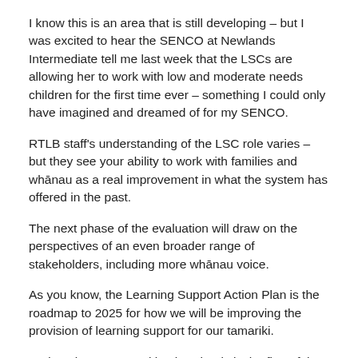I know this is an area that is still developing – but I was excited to hear the SENCO at Newlands Intermediate tell me last week that the LSCs are allowing her to work with low and moderate needs children for the first time ever – something I could only have imagined and dreamed of for my SENCO.
RTLB staff's understanding of the LSC role varies – but they see your ability to work with families and whānau as a real improvement in what the system has offered in the past.
The next phase of the evaluation will draw on the perspectives of an even broader range of stakeholders, including more whānau voice.
As you know, the Learning Support Action Plan is the roadmap to 2025 for how we will be improving the provision of learning support for our tamariki.
And getting LSCs working in schools is the first of the six priorities that we've started with.